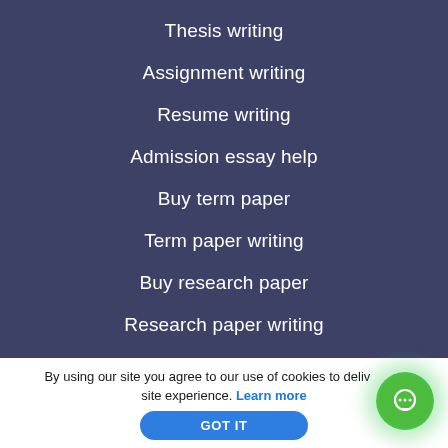Thesis writing
Assignment writing
Resume writing
Admission essay help
Buy term paper
Term paper writing
Buy research paper
Research paper writing
Buy essay
By using our site you agree to our use of cookies to deliver a better site experience. Learn more
GOT IT